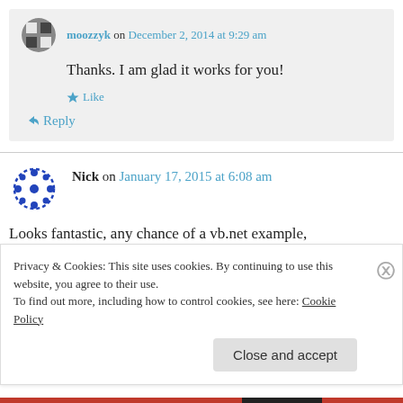moozzyk on December 2, 2014 at 9:29 am
Thanks. I am glad it works for you!
Like
Reply
Nick on January 17, 2015 at 6:08 am
Looks fantastic, any chance of a vb.net example,
as having trouble raising events after using
Privacy & Cookies: This site uses cookies. By continuing to use this website, you agree to their use.
To find out more, including how to control cookies, see here: Cookie Policy
Close and accept